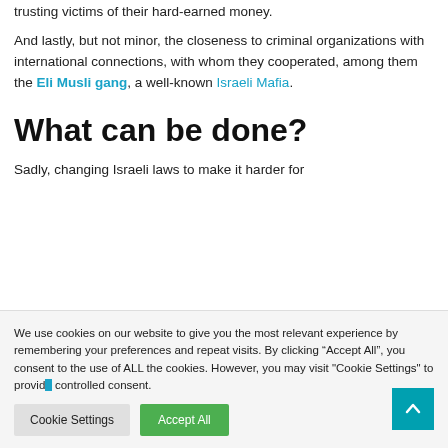trusting victims of their hard-earned money.
And lastly, but not minor, the closeness to criminal organizations with international connections, with whom they cooperated, among them the Eli Musli gang, a well-known Israeli Mafia.
What can be done?
Sadly, changing Israeli laws to make it harder for
We use cookies on our website to give you the most relevant experience by remembering your preferences and repeat visits. By clicking “Accept All”, you consent to the use of ALL the cookies. However, you may visit "Cookie Settings" to provide controlled consent.